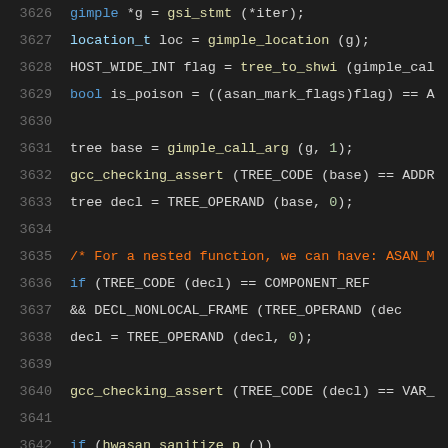[Figure (screenshot): Source code listing showing C/C++ code lines 3626-3647 with syntax highlighting on dark background. Line numbers in gray, keywords in blue, comments in orange, variables in light blue, plain code in white/light gray.]